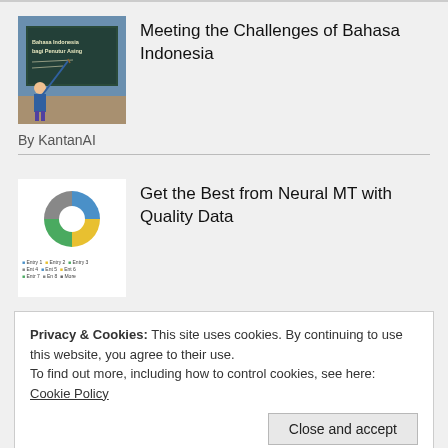[Figure (illustration): Thumbnail image of a teacher at a blackboard with text 'Bahasa Indonesia bagi Penutur Asing']
Meeting the Challenges of Bahasa Indonesia
By KantanAI
[Figure (donut-chart): Thumbnail donut chart with colored segments (blue, yellow, green, gray) and a small legend below]
Get the Best from Neural MT with Quality Data
Privacy & Cookies: This site uses cookies. By continuing to use this website, you agree to their use.
To find out more, including how to control cookies, see here: Cookie Policy
Close and accept